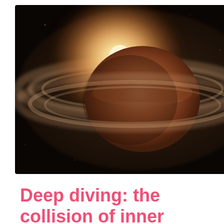[Figure (photo): Space photograph showing a ringed planet (Saturn-like) with a bright glowing star/sun behind it, set against a dark space background with warm brown and orange tones]
Deep diving: the collision of inner and outer cosmos
May 4, 2017
Kendall
Since I was a little girl, I've been fascinated by Space: Space exploration, Space theories, Space